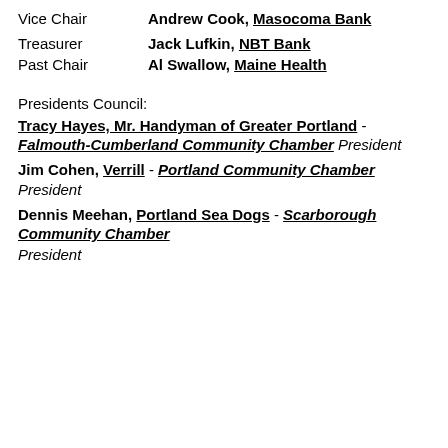Vice Chair   Andrew Cook, Masocoma Bank
Treasurer   Jack Lufkin, NBT Bank
Past Chair   Al Swallow, Maine Health
Presidents Council:
Tracy Hayes, Mr. Handyman of Greater Portland - Falmouth-Cumberland Community Chamber President
Jim Cohen, Verrill - Portland Community Chamber President
Dennis Meehan, Portland Sea Dogs - Scarborough Community Chamber President